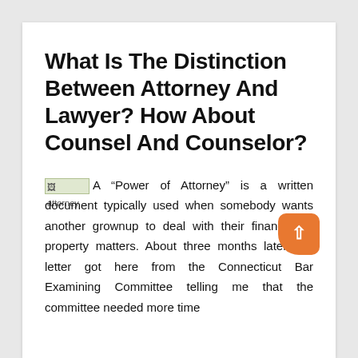What Is The Distinction Between Attorney And Lawyer? How About Counsel And Counselor?
A “Power of Attorney” is a written document typically used when somebody wants another grownup to deal with their financial or property matters. About three months later, the letter got here from the Connecticut Bar Examining Committee telling me that the committee needed more time